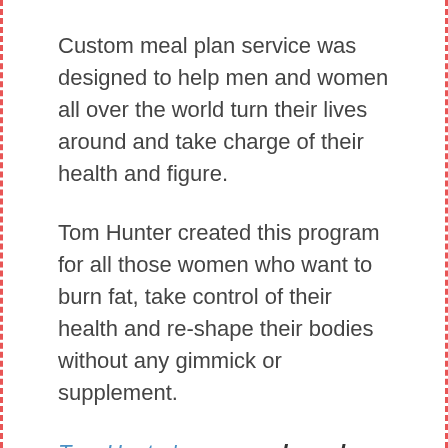Custom meal plan service was designed to help men and women all over the world turn their lives around and take charge of their health and figure.
Tom Hunter created this program for all those women who want to burn fat, take control of their health and re-shape their bodies without any gimmick or supplement.
Tom Hunter’s program based on recent scientific studies on how gut health impacts weight loss.